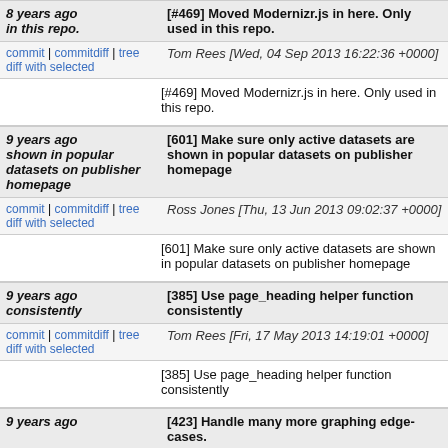8 years ago in this repo. | [#469] Moved Modernizr.js in here. Only used in this repo.
commit | commitdiff | tree diff with selected | Tom Rees [Wed, 04 Sep 2013 16:22:36 +0000]
[#469] Moved Modernizr.js in here. Only used in this repo.
9 years ago shown in popular datasets on publisher homepage | [601] Make sure only active datasets are shown in popular datasets on publisher homepage
commit | commitdiff | tree diff with selected | Ross Jones [Thu, 13 Jun 2013 09:02:37 +0000]
[601] Make sure only active datasets are shown in popular datasets on publisher homepage
9 years ago consistently | [385] Use page_heading helper function consistently
commit | commitdiff | tree diff with selected | Tom Rees [Fri, 17 May 2013 14:19:01 +0000]
[385] Use page_heading helper function consistently
9 years ago | [423] Handle many more graphing edge-cases.
commit | commitdiff | tree diff with selected | Tom Rees [Thu, 16 May 2013 11:35:37 +0000]
[423] Handle many more graphing edge-cases.